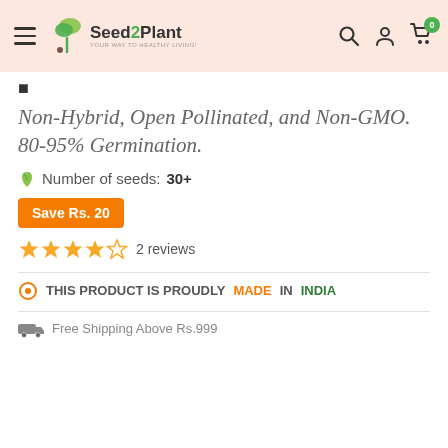[Figure (logo): Seed2Plant logo with leaf icon and tagline YOUR WAY TO HEALTHY LIVING]
Non-Hybrid, Open Pollinated, and Non-GMO. 80-95% Germination.
Number of seeds: 30+
Save Rs. 20
2 reviews
THIS PRODUCT IS PROUDLY MADE IN INDIA
Free Shipping Above Rs.999